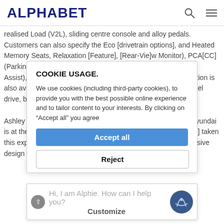ALPHABET
realised Load (V2L), sliding centre console and alloy pedals. Customers can also specify the Eco [Battery/Drivetrain options], and Heat[ed] Memory Seats, Rela[x]tion [Feature], [Rear-vie]w Monitor), PCA[CC], [Blind-Spot Collision Warning], RSPA (Remote Smart Parking Assist), SVM ( Surround View Monitor). The Ultimate specification is also available with the 73kwh battery in rear wheel and all-wheel drive, both of which upgrade to 20" alloy wheels.
Ashley Andrew, Managing Director, Hyundai Motor UK said "Hyundai is at the forefront of zero emission vehicle [technology] [and] [has] taken this expertise and combined it with the highest level of progressive design to produce what has already
COOKIE USAGE.
We use cookies (including third-party cookies), to provide you with the best possible online experience and to tailor content to your interests. By clicking on "Accept all" you agree
Accept all
Reject
Hi, I am Alphie. How can I help you?
Customize